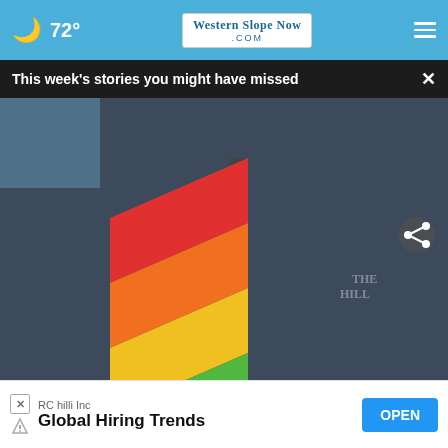🌙 72° — WesternSlopeNow.com
This week's stories you might have missed
[Figure (photo): A rainbow pride flag being held up at a protest, with crowds of people in the background. The flag is colorful with red, orange, yellow, green, blue, and purple stripes.]
Dozens of graduating seniors at Seattle Pacific University handed small rainbow pride flags to Interim President Pete Menjares in protest of the school's anti-LGBTQ+ employment policy.
Browning's fu... TD... Broncos beat
County
RC hilli Inc  Global Hiring Trends  OPEN